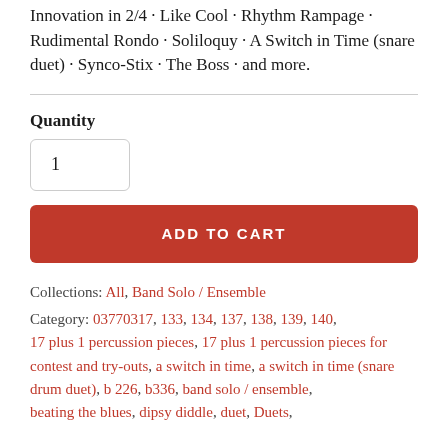Innovation in 2/4 · Like Cool · Rhythm Rampage · Rudimental Rondo · Soliloquy · A Switch in Time (snare duet) · Synco-Stix · The Boss · and more.
Quantity
1
ADD TO CART
Collections: All, Band Solo / Ensemble
Category: 03770317, 133, 134, 137, 138, 139, 140, 17 plus 1 percussion pieces, 17 plus 1 percussion pieces for contest and try-outs, a switch in time, a switch in time (snare drum duet), b 226, b336, band solo / ensemble, beating the blues, dipsy diddle, duet, Duets,